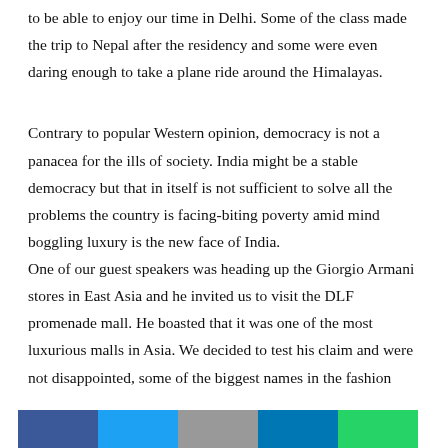to be able to enjoy our time in Delhi. Some of the class made the trip to Nepal after the residency and some were even daring enough to take a plane ride around the Himalayas.
Contrary to popular Western opinion, democracy is not a panacea for the ills of society. India might be a stable democracy but that in itself is not sufficient to solve all the problems the country is facing-biting poverty amid mind boggling luxury is the new face of India.
One of our guest speakers was heading up the Giorgio Armani stores in East Asia and he invited us to visit the DLF promenade mall. He boasted that it was one of the most luxurious malls in Asia. We decided to test his claim and were not disappointed, some of the biggest names in the fashion